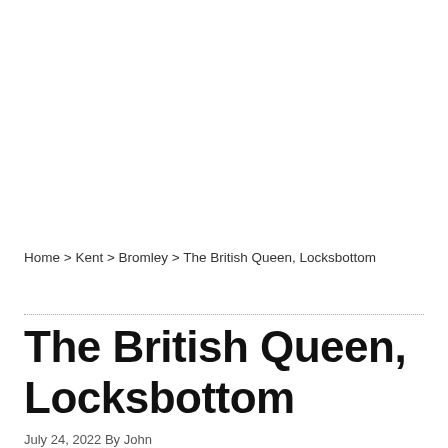Home > Kent > Bromley > The British Queen, Locksbottom
The British Queen, Locksbottom
July 24, 2022 By John